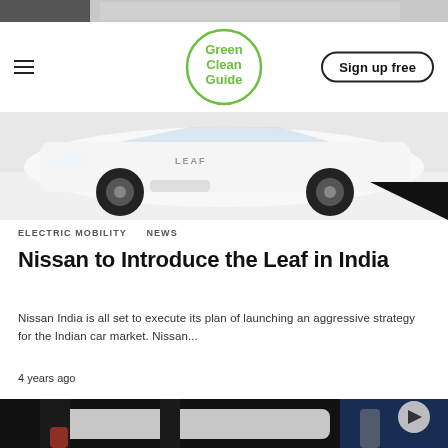[Figure (photo): Top cropped photo showing a room interior, partially visible]
[Figure (logo): Green Clean Guide logo — circular green outline with green text 'Green Clean Guide' in center]
Sign up free
[Figure (photo): Nissan Leaf white electric car on display floor, front-low angle view]
ELECTRIC MOBILITY   NEWS
Nissan to Introduce the Leaf in India
Nissan India is all set to execute its plan of launching an aggressive strategy for the Indian car market. Nissan...
4 years ago
[Figure (photo): Dark photo showing a white electric car at an auto show, people in background, blue lighting]